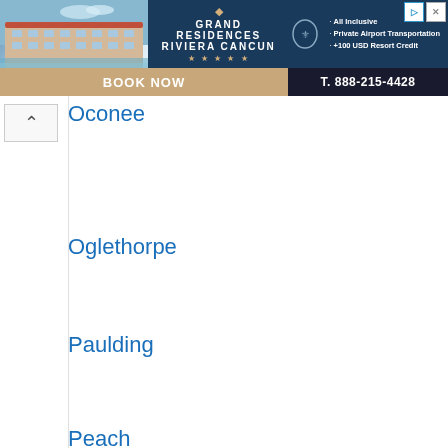[Figure (screenshot): Grand Residences Riviera Cancun advertisement banner with hotel photo, logo, amenity bullets (All Inclusive, Private Airport Transportation, +100 USD Resort Credit), BOOK NOW button, and phone number T. 888-215-4428]
Oconee
Oglethorpe
Paulding
Peach
Pickens